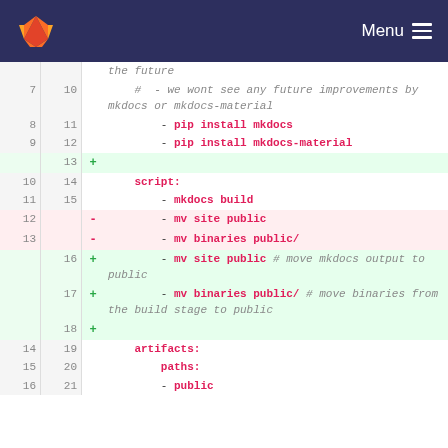GitLab — Menu
| old_ln | new_ln | sign | code |
| --- | --- | --- | --- |
|  |  |  | the future |
| 7 | 10 |  | #  - we wont see any future improvements by mkdocs or mkdocs-material |
| 8 | 11 |  |     - pip install mkdocs |
| 9 | 12 |  |     - pip install mkdocs-material |
|  | 13 | + |  |
| 10 | 14 |  |     script: |
| 11 | 15 |  |     - mkdocs build |
| 12 |  | - |     - mv site public |
| 13 |  | - |     - mv binaries public/ |
|  | 16 | + |     - mv site public # move mkdocs output to public |
|  | 17 | + |     - mv binaries public/ # move binaries from the build stage to public |
|  | 18 | + |  |
| 14 | 19 |  |     artifacts: |
| 15 | 20 |  |         paths: |
| 16 | 21 |  |         - public |